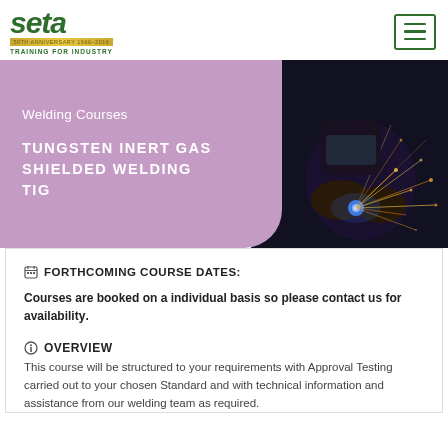[Figure (logo): SETA logo with green text and gold anniversary banner, tagline TRAINING FOR INDUSTRY]
[Figure (photo): Hamburger menu icon in green border]
[Figure (photo): Hero banner with purple left panel showing Welding Courses and TUNGSTEN INERT GAS SHIELDED WELDING TIG, and right panel showing a welder producing sparks]
FORTHCOMING COURSE DATES:
Courses are booked on a individual basis so please contact us for availability.
OVERVIEW
This course will be structured to your requirements with Approval Testing carried out to your chosen Standard and with technical information and assistance from our welding team as required.